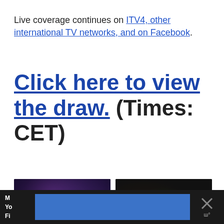Live coverage continues on ITV4, other international TV networks, and on Facebook.
Click here to view the draw. (Times: CET)
[Figure (photo): Snooker player standing with cue in dark arena, wearing dark suit]
[Figure (photo): Snooker player leaning over green baize table with red balls, cueing shot]